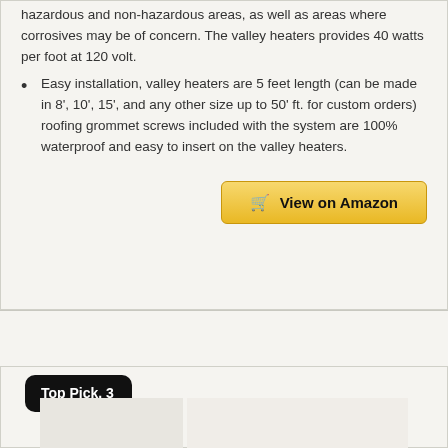hazardous and non-hazardous areas, as well as areas where corrosives may be of concern. The valley heaters provides 40 watts per foot at 120 volt.
Easy installation, valley heaters are 5 feet length (can be made in 8', 10', 15', and any other size up to 50' ft. for custom orders) roofing grommet screws included with the system are 100% waterproof and easy to insert on the valley heaters.
View on Amazon
Top Pick. 3